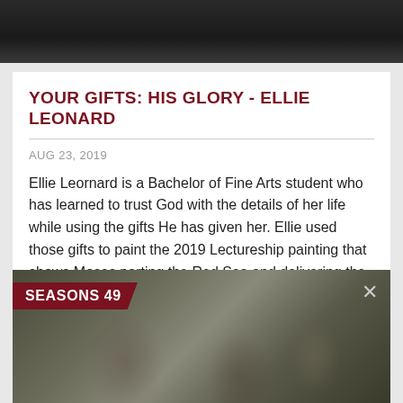[Figure (photo): Dark background photo strip at top of page]
YOUR GIFTS: HIS GLORY - ELLIE LEONARD
AUG 23, 2019
Ellie Leornard is a Bachelor of Fine Arts student who has learned to trust God with the details of her life while using the gifts He has given her. Ellie used those gifts to paint the 2019 Lectureship painting that shows Moses parting the Red Sea and delivering the children of Israel out of Egypt. Studying art and its history had grown and strengthened her as a person.
[Figure (screenshot): Thumbnail image for SEASONS 49 video with dark blurred background and close X button]